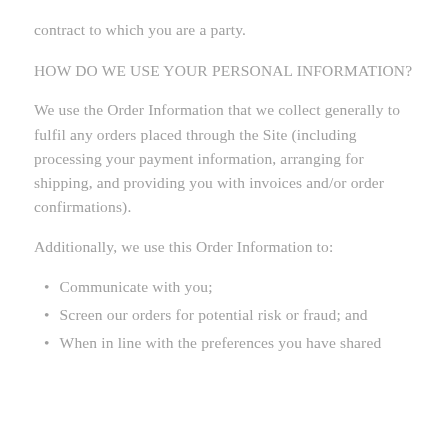contract to which you are a party.
HOW DO WE USE YOUR PERSONAL INFORMATION?
We use the Order Information that we collect generally to fulfil any orders placed through the Site (including processing your payment information, arranging for shipping, and providing you with invoices and/or order confirmations).
Additionally, we use this Order Information to:
Communicate with you;
Screen our orders for potential risk or fraud; and
When in line with the preferences you have shared